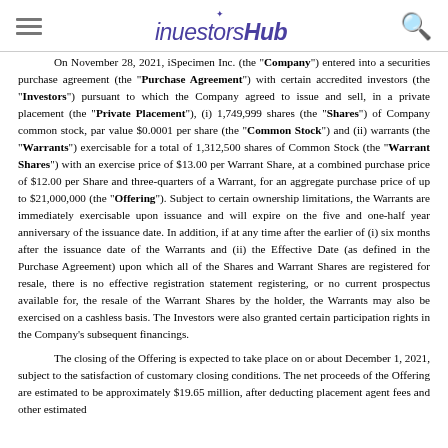investorshub (logo with hamburger menu and search icon)
On November 28, 2021, iSpecimen Inc. (the "Company") entered into a securities purchase agreement (the "Purchase Agreement") with certain accredited investors (the "Investors") pursuant to which the Company agreed to issue and sell, in a private placement (the "Private Placement"), (i) 1,749,999 shares (the "Shares") of Company common stock, par value $0.0001 per share (the "Common Stock") and (ii) warrants (the "Warrants") exercisable for a total of 1,312,500 shares of Common Stock (the "Warrant Shares") with an exercise price of $13.00 per Warrant Share, at a combined purchase price of $12.00 per Share and three-quarters of a Warrant, for an aggregate purchase price of up to $21,000,000 (the "Offering"). Subject to certain ownership limitations, the Warrants are immediately exercisable upon issuance and will expire on the five and one-half year anniversary of the issuance date. In addition, if at any time after the earlier of (i) six months after the issuance date of the Warrants and (ii) the Effective Date (as defined in the Purchase Agreement) upon which all of the Shares and Warrant Shares are registered for resale, there is no effective registration statement registering, or no current prospectus available for, the resale of the Warrant Shares by the holder, the Warrants may also be exercised on a cashless basis. The Investors were also granted certain participation rights in the Company's subsequent financings.
The closing of the Offering is expected to take place on or about December 1, 2021, subject to the satisfaction of customary closing conditions. The net proceeds of the Offering are estimated to be approximately $19.65 million, after deducting placement agent fees and other estimated